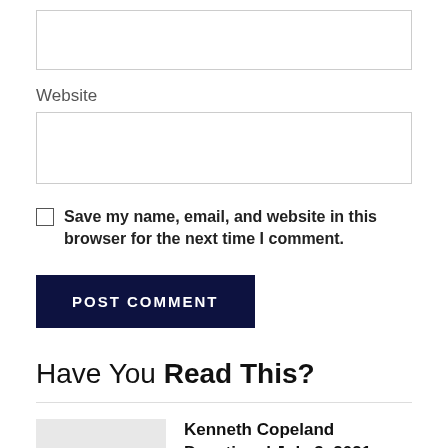Website
Save my name, email, and website in this browser for the next time I comment.
POST COMMENT
Have You Read This?
Kenneth Copeland Devotional July 3, 2021 (God's Discipline)
JULY 3, 2021